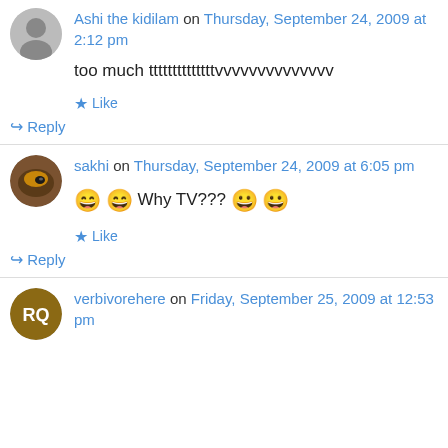Ashi the kidilam on Thursday, September 24, 2009 at 2:12 pm
too much ttttttttttttttvvvvvvvvvvvvvv
★ Like
↪ Reply
sakhi on Thursday, September 24, 2009 at 6:05 pm
😄 😄 Why TV??? 😀 😀
★ Like
↪ Reply
verbivorehere on Friday, September 25, 2009 at 12:53 pm